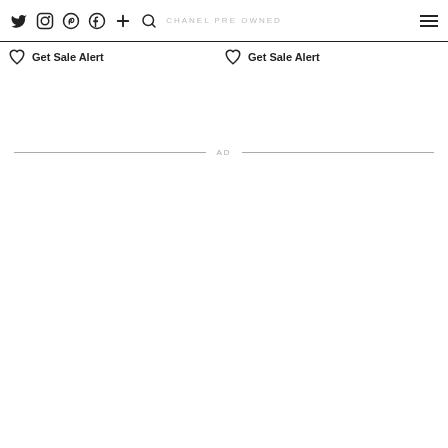CHANEL PRE OWNED
Get Sale Alert  Get Sale Alert
AD